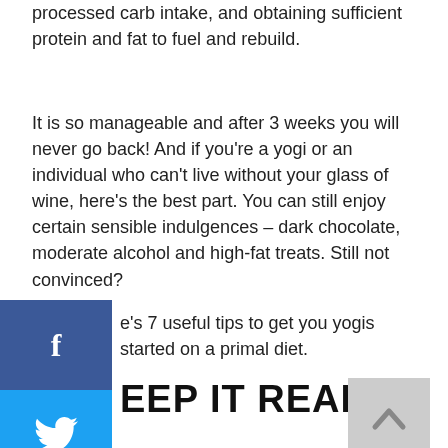processed carb intake, and obtaining sufficient protein and fat to fuel and rebuild.
It is so manageable and after 3 weeks you will never go back! And if you're a yogi or an individual who can't live without your glass of wine, here's the best part. You can still enjoy certain sensible indulgences – dark chocolate, moderate alcohol and high-fat treats. Still not convinced?
e's 7 useful tips to get you yogis started on a primal diet.
EEP IT REAL
[Figure (other): Social media share buttons sidebar: Facebook (blue), Twitter (cyan), Google+ (red), Pinterest (dark red), LinkedIn (blue)]
[Figure (other): Scroll to top button with upward chevron arrow, grey background]